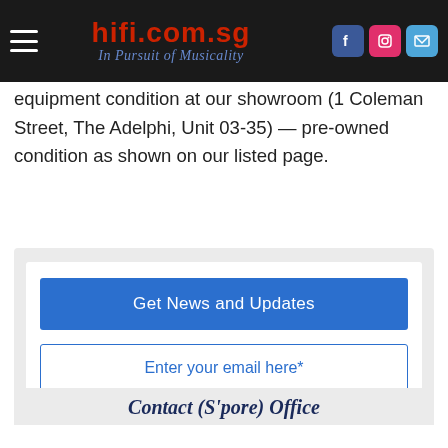hifi.com.sg — In Pursuit of Musicality
equipment condition at our showroom (1 Coleman Street, The Adelphi, Unit 03-35) — pre-owned condition as shown on our listed page.
Get News and Updates
Enter your email here*
Contact (S'pore) Office